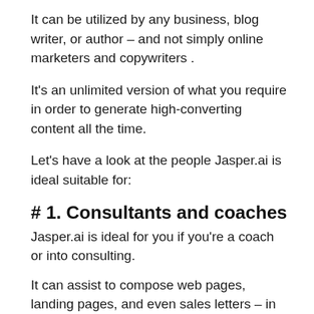It can be utilized by any business, blog writer, or author – and not simply online marketers and copywriters .
It's an unlimited version of what you require in order to generate high-converting content all the time.
Let's have a look at the people Jasper.ai is ideal suitable for:
# 1. Consultants and coaches
Jasper.ai is ideal for you if you're a coach or into consulting.
It can assist to compose web pages, landing pages, and even sales letters – in the blink of an eye.